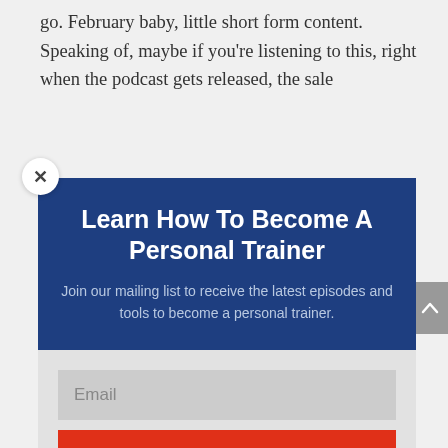go. February baby, little short form content. Speaking of, maybe if you're listening to this, right when the podcast gets released, the sale
[Figure (screenshot): Modal popup with close (X) button, dark blue header section with title 'Learn How To Become A Personal Trainer' and subtitle text, followed by a light gray form section with an Email input field and a red SUBSCRIBE! button]
Learn How To Become A Personal Trainer
Join our mailing list to receive the latest episodes and tools to become a personal trainer.
Email
SUBSCRIBE!